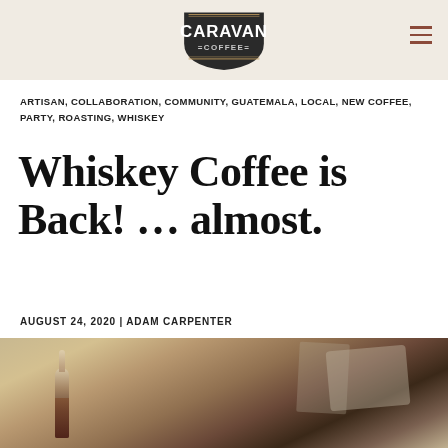[Figure (logo): Caravan Coffee logo — shield/badge shape with 'CARAVAN' in white bold letters and '=COFFEE=' below, dark background]
ARTISAN, COLLABORATION, COMMUNITY, GUATEMALA, LOCAL, NEW COFFEE, PARTY, ROASTING, WHISKEY
Whiskey Coffee is Back! … almost.
AUGUST 24, 2020 | ADAM CARPENTER
[Figure (photo): Close-up photo of a glass whiskey/coffee bottle with warm blurred background tones]